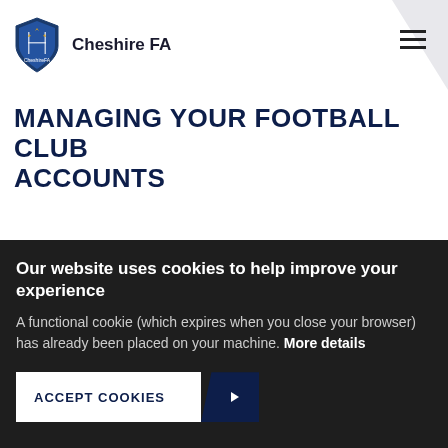Cheshire FA
MANAGING YOUR FOOTBALL CLUB ACCOUNTS
As a club, it will be important to raise funds quickly
Our website uses cookies to help improve your experience
A functional cookie (which expires when you close your browser) has already been placed on your machine. More details
ACCEPT COOKIES